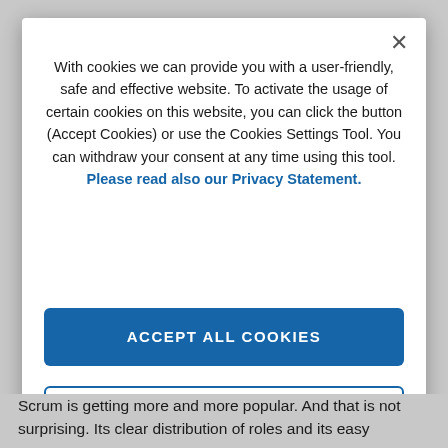With cookies we can provide you with a user-friendly, safe and effective website. To activate the usage of certain cookies on this website, you can click the button (Accept Cookies) or use the Cookies Settings Tool. You can withdraw your consent at any time using this tool. Please read also our Privacy Statement.
[Figure (screenshot): ACCEPT ALL COOKIES button — blue filled rectangle with white uppercase text]
[Figure (screenshot): COOKIES SETTINGS button — white rectangle with blue border and blue uppercase text]
Scrum is getting more and more popular. And that is not surprising. Its clear distribution of roles and its easy